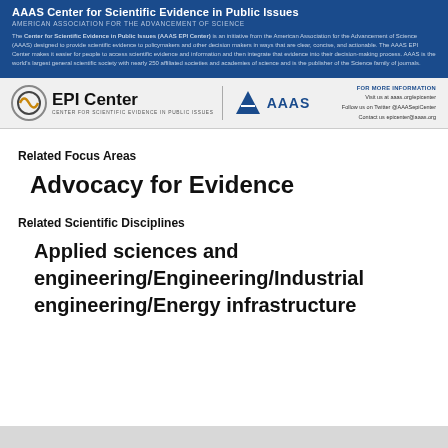AAAS Center for Scientific Evidence in Public Issues
AMERICAN ASSOCIATION FOR THE ADVANCEMENT OF SCIENCE
The Center for Scientific Evidence in Public Issues (AAAS EPI Center) is an initiative from the American Association for the Advancement of Science (AAAS) designed to provide scientific evidence to policymakers and other decision makers in ways that are clear, concise, and actionable. The AAAS EPI Center makes it easier for people to access scientific evidence and information and then integrate that evidence into their decision-making process. AAAS is the world's largest general scientific society with nearly 250 affiliated societies and academies of science and is the publisher of the Science family of journals.
[Figure (logo): EPI Center logo and AAAS logo with contact information]
Related Focus Areas
Advocacy for Evidence
Related Scientific Disciplines
Applied sciences and engineering/Engineering/Industrial engineering/Energy infrastructure